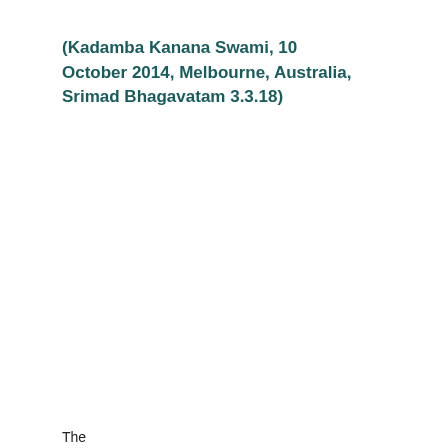(Kadamba Kanana Swami, 10 October 2014, Melbourne, Australia, Srimad Bhagavatam 3.3.18)
The...